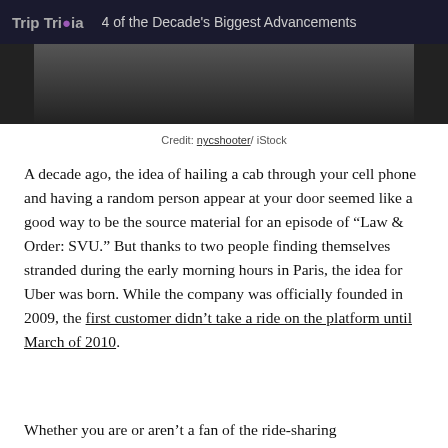Trip Trivia   4 of the Decade's Biggest Advancements
[Figure (photo): Dark photo strip showing what appears to be a car interior or vehicle-related image]
Credit: nycshooter/ iStock
A decade ago, the idea of hailing a cab through your cell phone and having a random person appear at your door seemed like a good way to be the source material for an episode of “Law & Order: SVU.” But thanks to two people finding themselves stranded during the early morning hours in Paris, the idea for Uber was born. While the company was officially founded in 2009, the first customer didn’t take a ride on the platform until March of 2010.
Whether you are or aren’t a fan of the ride-sharing